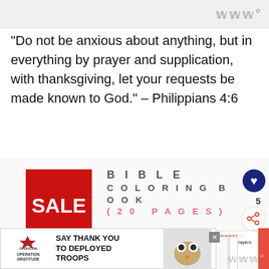www
“Do not be anxious about anything, but in everything by prayer and supplication, with thanksgiving, let your requests be made known to God.” – Philippians 4:6
[Figure (illustration): Sale banner for Bible Coloring Book (20 Pages) with red SALE badge/ribbon on left, text on right, heart/share buttons, and coloring page previews below. Includes WHAT'S NEXT panel for 90+ Powerful Prayers For...]
[Figure (illustration): Operation Gratitude ad banner: SAY THANK YOU TO DEPLOYED TROOPS, with logo, flag imagery, cartoon owl, and close button.]
www